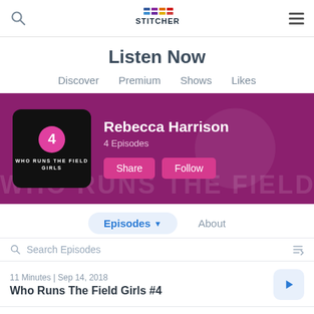Stitcher app navigation bar with search, logo, and menu
Listen Now
Discover  Premium  Shows  Likes
[Figure (screenshot): Purple banner showing podcast 'Who Runs The Field Girls' with Rebecca Harrison profile: black album art with pink circle and number 4, Share and Follow buttons, watermark text in background]
Episodes ▾   About
Search Episodes
11 Minutes | Sep 14, 2018
Who Runs The Field Girls #4
10 Minutes | Sep 5, 2018
Who Runs The Field Girls #3 MP3